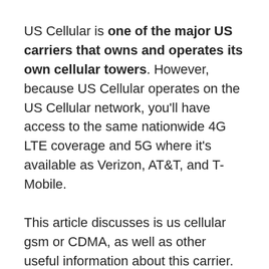US Cellular is one of the major US carriers that owns and operates its own cellular towers. However, because US Cellular operates on the US Cellular network, you'll have access to the same nationwide 4G LTE coverage and 5G where it's available as Verizon, AT&T, and T-Mobile.
This article discusses is us cellular gsm or CDMA, as well as other useful information about this carrier. Keep an eye out! Most importantly, US Cellular is the fourth-largest wireless network in the United States, serving 23 states, and is a carrier partner for Google's